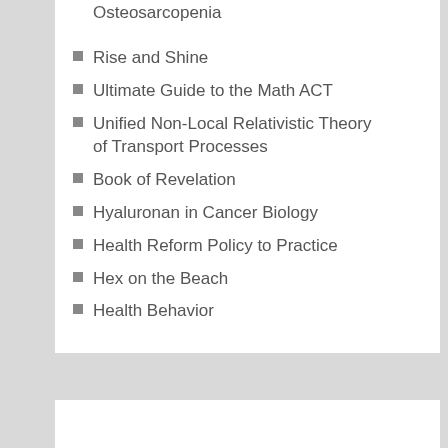Osteosarcopenia
Rise and Shine
Ultimate Guide to the Math ACT
Unified Non-Local Relativistic Theory of Transport Processes
Book of Revelation
Hyaluronan in Cancer Biology
Health Reform Policy to Practice
Hex on the Beach
Health Behavior